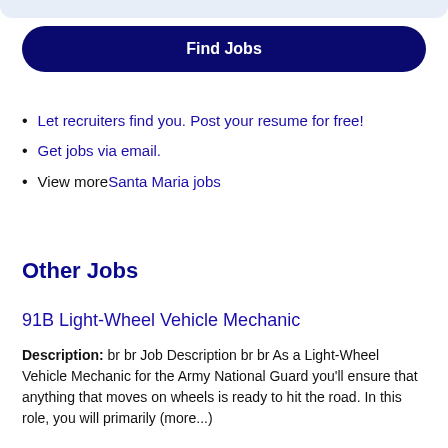Find Jobs
Let recruiters find you. Post your resume for free!
Get jobs via email.
View more Santa Maria jobs
Other Jobs
91B Light-Wheel Vehicle Mechanic
Description: br br Job Description br br As a Light-Wheel Vehicle Mechanic for the Army National Guard you'll ensure that anything that moves on wheels is ready to hit the road. In this role, you will primarily (more...)